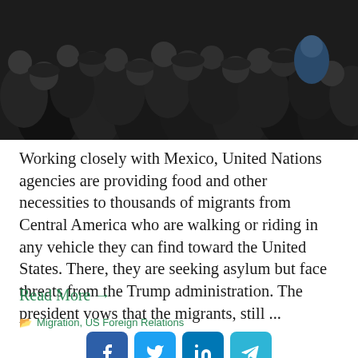[Figure (photo): Crowd of people in dark clothing, appears to be migrants or protesters gathered together, photo taken from above/close angle]
Working closely with Mexico, United Nations agencies are providing food and other necessities to thousands of migrants from Central America who are walking or riding in any vehicle they can find toward the United States. There, they are seeking asylum but face threats from the Trump administration. The president vows that the migrants, still ...
Read More →
Migration, US Foreign Relations